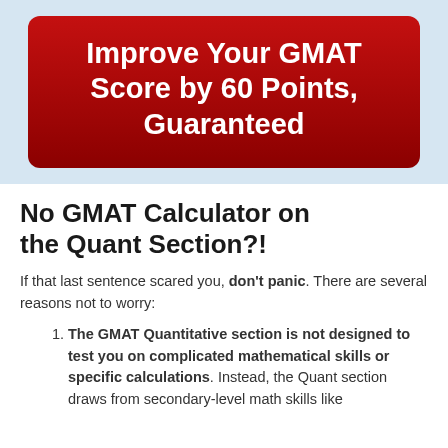[Figure (other): Red banner with white bold text reading 'Improve Your GMAT Score by 60 Points, Guaranteed' on a light blue background]
No GMAT Calculator on the Quant Section?!
If that last sentence scared you, don't panic. There are several reasons not to worry:
The GMAT Quantitative section is not designed to test you on complicated mathematical skills or specific calculations. Instead, the Quant section draws from secondary-level math skills like